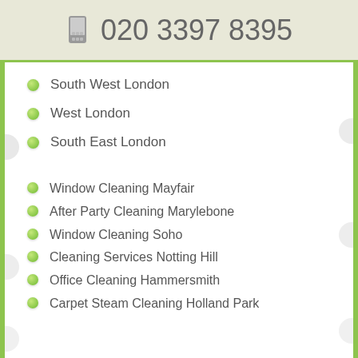020 3397 8395
South West London
West London
South East London
Window Cleaning Mayfair
After Party Cleaning Marylebone
Window Cleaning Soho
Cleaning Services Notting Hill
Office Cleaning Hammersmith
Carpet Steam Cleaning Holland Park